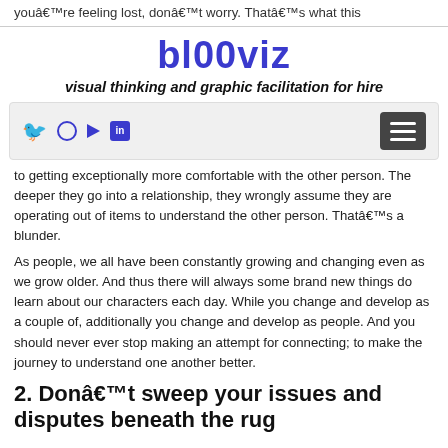youâ€™re feeling lost, donâ€™t worry. Thatâ€™s what this
bl00viz
visual thinking and graphic facilitation for hire
[Figure (other): Navigation bar with social media icons (Twitter, Instagram, YouTube, LinkedIn) and a hamburger menu button]
to getting exceptionally more comfortable with the other person. The deeper they go into a relationship, they wrongly assume they are operating out of items to understand the other person. Thatâ€™s a blunder.
As people, we all have been constantly growing and changing even as we grow older. And thus there will always some brand new things do learn about our characters each day. While you change and develop as a couple of, additionally you change and develop as people. And you should never ever stop making an attempt for connecting; to make the journey to understand one another better.
2. Donâ€™t sweep your issues and disputes beneath the rug